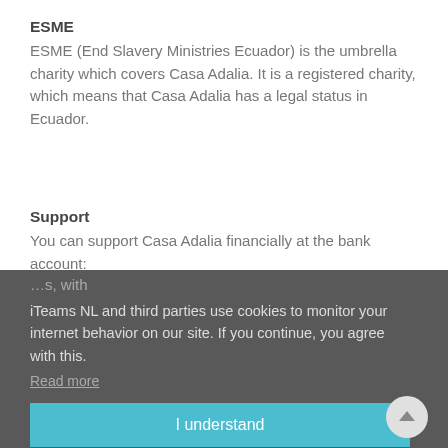ESME
ESME (End Slavery Ministries Ecuador) is the umbrella charity which covers Casa Adalia. It is a registered charity, which means that Casa Adalia has a legal status in Ecuador.
Support
You can support Casa Adalia financially at the bank account:
…s, with
iTeams NL and third parties use cookies to monitor your internet behavior on our site. If you continue, you agree with this.
Read more
I understand